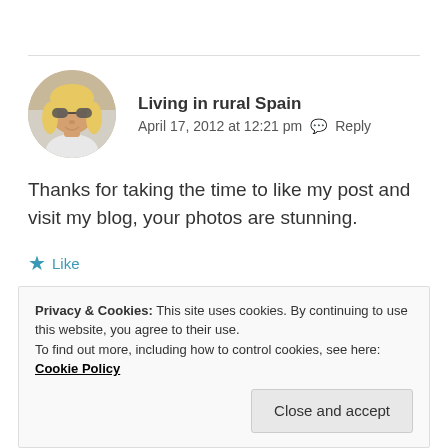Living in rural Spain
April 17, 2012 at 12:21 pm  Reply
Thanks for taking the time to like my post and visit my blog, your photos are stunning.
Like
Privacy & Cookies: This site uses cookies. By continuing to use this website, you agree to their use. To find out more, including how to control cookies, see here: Cookie Policy
Close and accept